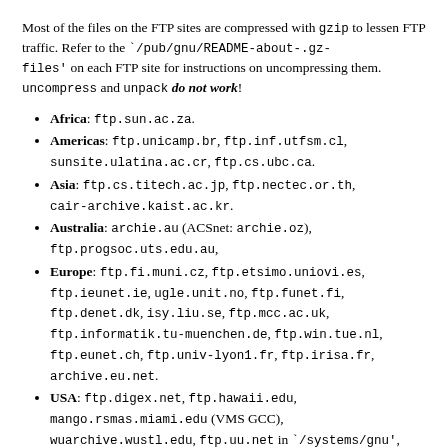Most of the files on the FTP sites are compressed with gzip to lessen FTP traffic. Refer to the `/pub/gnu/README-about-.gz-files' on each FTP site for instructions on uncompressing them. uncompress and unpack do not work!
Africa: ftp.sun.ac.za.
Americas: ftp.unicamp.br, ftp.inf.utfsm.cl, sunsite.ulatina.ac.cr, ftp.cs.ubc.ca.
Asia: ftp.cs.titech.ac.jp, ftp.nectec.or.th, cair-archive.kaist.ac.kr.
Australia: archie.au (ACSnet: archie.oz), ftp.progsoc.uts.edu.au,
Europe: ftp.fi.muni.cz, ftp.etsimo.uniovi.es, ftp.ieunet.ie, ugle.unit.no, ftp.funet.fi, ftp.denet.dk, isy.liu.se, ftp.mcc.ac.uk, ftp.informatik.tu-muenchen.de, ftp.win.tue.nl, ftp.eunet.ch, ftp.univ-lyon1.fr, ftp.irisa.fr, archive.eu.net.
USA: ftp.digex.net, ftp.hawaii.edu, mango.rsmas.miami.edu (VMS GCC), wuarchive.wustl.edu, ftp.uu.net in `/systems/gnu', gatekeeper.dec.com.
If you can UUCP, get e-mail instructions from info@contrib.de (Europe).